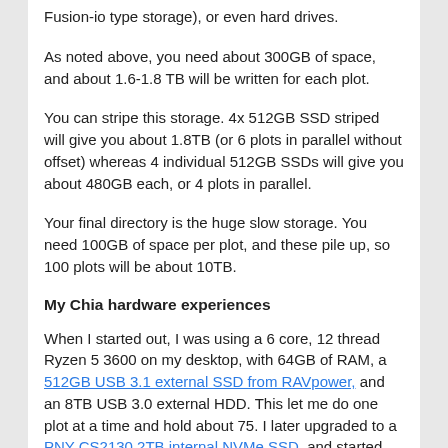Fusion-io type storage), or even hard drives.
As noted above, you need about 300GB of space, and about 1.6-1.8 TB will be written for each plot.
You can stripe this storage. 4x 512GB SSD striped will give you about 1.8TB (or 6 plots in parallel without offset) whereas 4 individual 512GB SSDs will give you about 480GB each, or 4 plots in parallel.
Your final directory is the huge slow storage. You need 100GB of space per plot, and these pile up, so 100 plots will be about 10TB.
My Chia hardware experiences
When I started out, I was using a 6 core, 12 thread Ryzen 5 3600 on my desktop, with 64GB of RAM, a 512GB USB 3.1 external SSD from RAVpower, and an 8TB USB 3.0 external HDD. This let me do one plot at a time and hold about 75. I later upgraded to a PNY CS2130 2TB internal NVMe SSD, and started moving the plots to my Synology